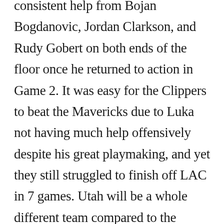consistent help from Bojan Bogdanovic, Jordan Clarkson, and Rudy Gobert on both ends of the floor once he returned to action in Game 2. It was easy for the Clippers to beat the Mavericks due to Luka not having much help offensively despite his great playmaking, and yet they still struggled to finish off LAC in 7 games. Utah will be a whole different team compared to the Clippers, as Utah is the deepest team in the NBA this season. Jazz in 6.